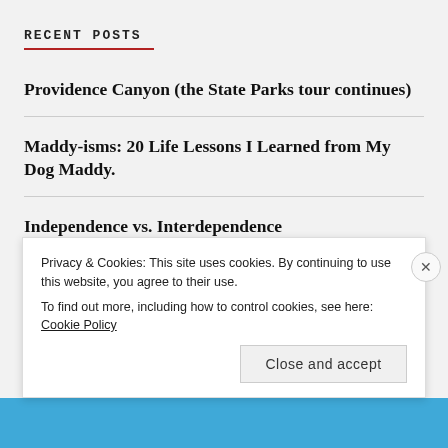RECENT POSTS
Providence Canyon (the State Parks tour continues)
Maddy-isms: 20 Life Lessons I Learned from My Dog Maddy.
Independence vs. Interdependence
Chai Latte: how I became my own barista
Privacy & Cookies: This site uses cookies. By continuing to use this website, you agree to their use. To find out more, including how to control cookies, see here: Cookie Policy
Close and accept